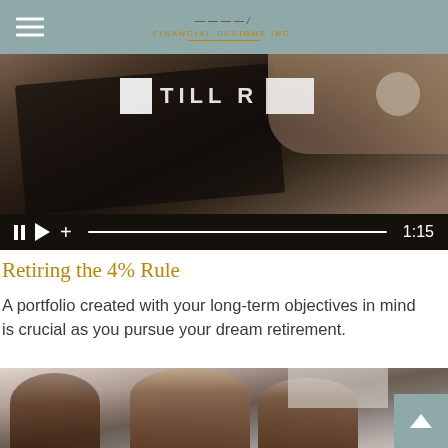Financial Designs Inc. — navigation header with hamburger menu and logo
[Figure (screenshot): Video player showing a close-up of hands holding a credit card or tablet, with white text overlay partially visible 'STILL R', video controls bar at bottom showing pause, play, plus icons, a progress bar, and timestamp 1:15]
Retiring the 4% Rule
A portfolio created with your long-term objectives in mind is crucial as you pursue your dream retirement.
[Figure (photo): Photo of three women smiling and conversing, appearing to be in a professional or office setting with windows in background. A teal/grey scroll-to-top button with upward chevron is positioned bottom-right.]